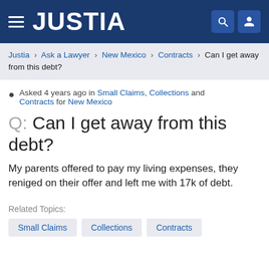JUSTIA
Justia › Ask a Lawyer › New Mexico › Contracts › Can I get away from this debt?
Asked 4 years ago in Small Claims, Collections and Contracts for New Mexico
Q: Can I get away from this debt?
My parents offered to pay my living expenses, they reniged on their offer and left me with 17k of debt.
Related Topics:
Small Claims
Collections
Contracts